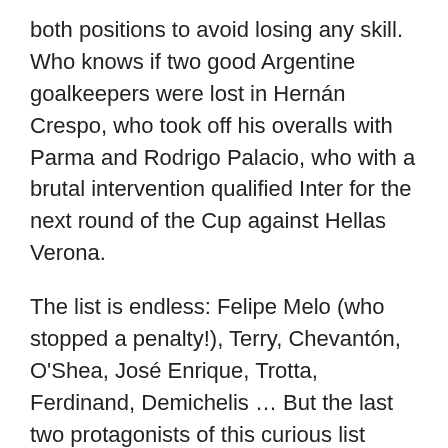both positions to avoid losing any skill. Who knows if two good Argentine goalkeepers were lost in Hernán Crespo, who took off his overalls with Parma and Rodrigo Palacio, who with a brutal intervention qualified Inter for the next round of the Cup against Hellas Verona.
The list is endless: Felipe Melo (who stopped a penalty!), Terry, Chevantón, O'Shea, José Enrique, Trotta, Ferdinand, Demichelis … But the last two protagonists of this curious list have been Rangel, the boy to all of Swansea and Arbeloa, who briefly wrapped his gloves after Valdés' injury in South Africa. Unfortunately for him and the African coach, Spain broke the rules, could make one more change and left Queen. Of course, what no one has overcome has been the internship by the band of Molina, Spanish goalkeeper who made his debut with the National Team as a field player. By script requirements, of course.